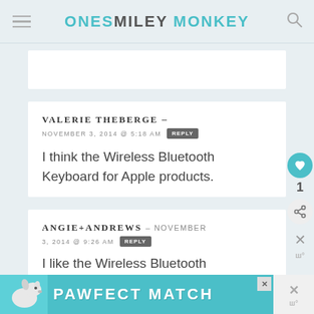ONE SMILEY MONKEY
VALERIE THEBERGE – NOVEMBER 3, 2014 @ 5:18 AM
I think the Wireless Bluetooth Keyboard for Apple products.
ANGIE+ANDREWS – NOVEMBER 3, 2014 @ 9:26 AM
I like the Wireless Bluetooth
[Figure (screenshot): PAWFECT MATCH advertisement banner with dog image at bottom of page]